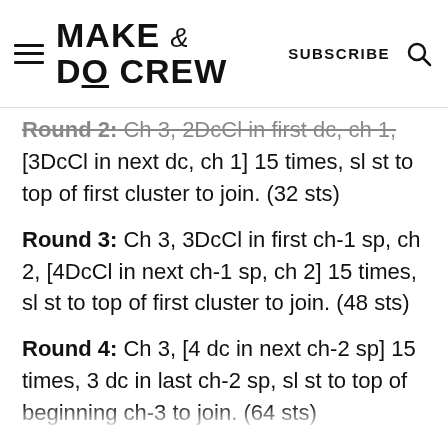MAKE & DO CREW — SUBSCRIBE
Round 2: Ch 3, 2DcCl in first dc, ch 1, [3DcCl in next dc, ch 1] 15 times, sl st to top of first cluster to join. (32 sts)
Round 3: Ch 3, 3DcCl in first ch-1 sp, ch 2, [4DcCl in next ch-1 sp, ch 2] 15 times, sl st to top of first cluster to join. (48 sts)
Round 4: Ch 3, [4 dc in next ch-2 sp] 15 times, 3 dc in last ch-2 sp, sl st to top of beginning ch-3 to join. (64 sts)